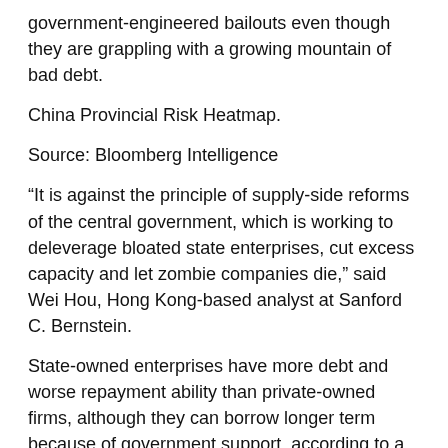government-engineered bailouts even though they are grappling with a growing mountain of bad debt.
China Provincial Risk Heatmap.
Source: Bloomberg Intelligence
“It is against the principle of supply-side reforms of the central government, which is working to deleverage bloated state enterprises, cut excess capacity and let zombie companies die,” said Wei Hou, Hong Kong-based analyst at Sanford C. Bernstein.
State-owned enterprises have more debt and worse repayment ability than private-owned firms, although they can borrow longer term because of government support, according to a May analysis of China’s 3,000 biggest listed companies by Natixis SA. Private companies have cut debt to 53 percent of assets from 58 percent in 2007, while SOEs have seen those figures jump to 62 percent from 55 percent, according to Shi Kang, an associate economics professor at the Chinese University of Hong Kong.
“The recent local government measures to encourage more lending to regional enterprises show the governments have hit their limit in preventing corporate failures,” said Sun Binbin, an analyst at China Merchants Securities Co. “Now local